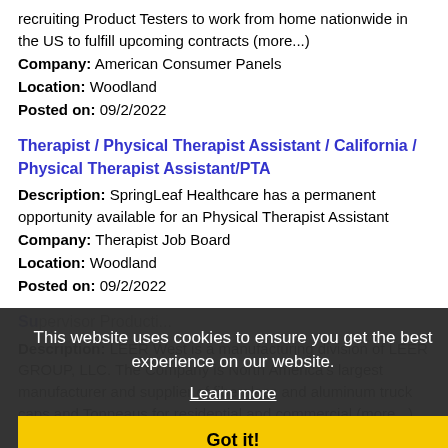recruiting Product Testers to work from home nationwide in the US to fulfill upcoming contracts (more...)
Company: American Consumer Panels
Location: Woodland
Posted on: 09/2/2022
Therapist / Physical Therapist Assistant / California / Physical Therapist Assistant/PTA
Description: SpringLeaf Healthcare has a permanent opportunity available for an Physical Therapist Assistant
Company: Therapist Job Board
Location: Woodland
Posted on: 09/2/2022
Su... (partially obscured job title)
Description: LEER West is a manufacturing division of LEER GROUP, LLC. The Company is North America's largest manufacturer and supplier of fiberglass and aluminum truck caps and Tonneaus for residential and commercial (more...)
Company: LEER Group
Location: Woodland
Posted on: 09/2/2022
Pain Management Nurse Practitioner
This website uses cookies to ensure you get the best experience on our website. Learn more Got it!